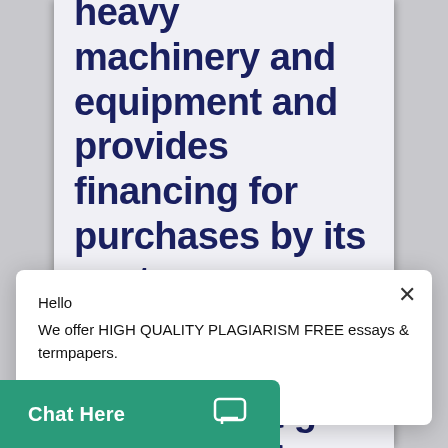heavy machinery and equipment and provides financing for purchases by its customers. Caterpillar reported sales and interest revenues of $51,324 million for Year 1. The
Hello
We offer HIGH QUALITY PLAGIARISM FREE essays & termpapers.

Chat...
the beginning of